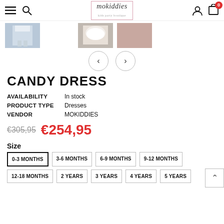mokiddies — navigation bar with hamburger, search, logo, user, cart (0)
[Figure (photo): Row of product thumbnail images for the Candy Dress, partially visible]
[Figure (other): Navigation arrows (left < and right >) for cycling through product images]
CANDY DRESS
AVAILABILITY  In stock
PRODUCT TYPE  Dresses
VENDOR  MOKIDDIES
€305,95  €254,95
Size
0-3 MONTHS (selected)
3-6 MONTHS
6-9 MONTHS
9-12 MONTHS
12-18 MONTHS
2 YEARS
3 YEARS
4 YEARS
5 YEARS